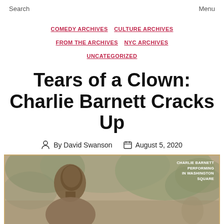Search  Menu
COMEDY ARCHIVES  CULTURE ARCHIVES  FROM THE ARCHIVES  NYC ARCHIVES  UNCATEGORIZED
Tears of a Clown: Charlie Barnett Cracks Up
By David Swanson  August 5, 2020
[Figure (photo): Sepia-toned photograph of Charlie Barnett performing in Washington Square, a man looking upward with trees in background, with caption text 'CHARLIE BARNETT PERFORMING IN WASHINGTON SQUARE']